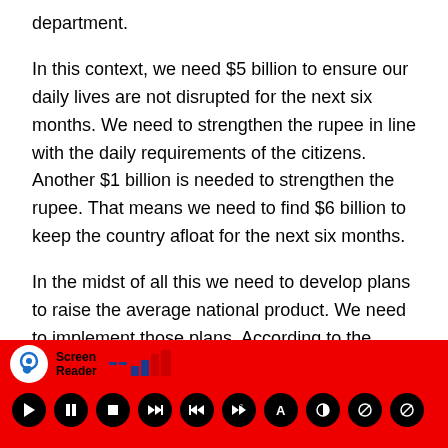department.
In this context, we need $5 billion to ensure our daily lives are not disrupted for the next six months. We need to strengthen the rupee in line with the daily requirements of the citizens. Another $1 billion is needed to strengthen the rupee. That means we need to find $6 billion to keep the country afloat for the next six months.
In the midst of all this we need to develop plans to raise the average national product. We need to implement those plans. According to the central bank, the average GDP growth in 2022 will be -3.5 According to the International Monetary Fund, the situation is even worse. According to them, its growth will
[Figure (screenshot): Screen Reader accessibility toolbar with red background, showing a circular ear/hearing icon, 'Screen Reader' label, signal bars, and media control buttons (play, pause, stop, and several accessibility/contrast controls)]